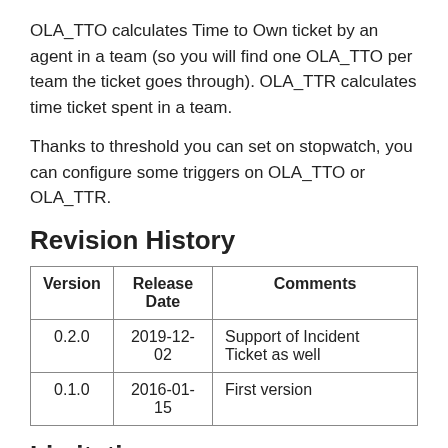OLA_TTO calculates Time to Own ticket by an agent in a team (so you will find one OLA_TTO per team the ticket goes through). OLA_TTR calculates time ticket spent in a team.
Thanks to threshold you can set on stopwatch, you can configure some triggers on OLA_TTO or OLA_TTR.
Revision History
| Version | Release Date | Comments |
| --- | --- | --- |
| 0.2.0 | 2019-12-02 | Support of Incident Ticket as well |
| 0.1.0 | 2016-01-15 | First version |
Limitations
Standard behaviour is that OLA_TTR is reset when a